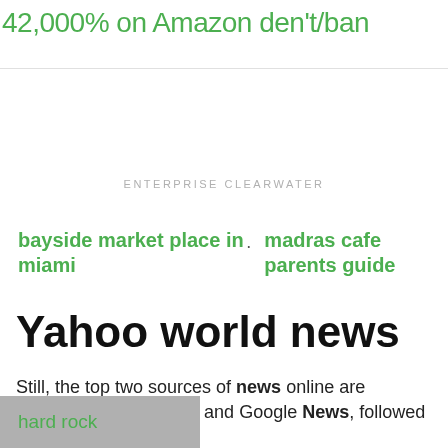42,000% on Amazon den't/ban
ENTERPRISE CLEARWATER
bayside market place in miami
madras cafe parents guide
Yahoo world news
Still, the top two sources of news online are Yahoo News and Google News, followed by
universal
hard rock